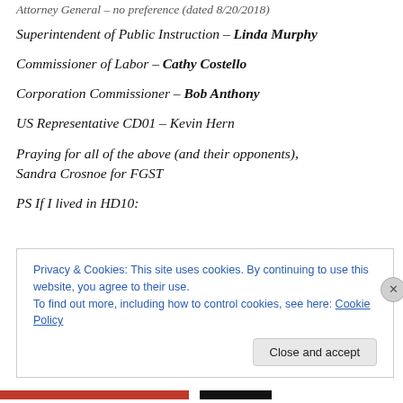Attorney General – no preference (dated 8/20/2018)
Superintendent of Public Instruction – Linda Murphy
Commissioner of Labor – Cathy Costello
Corporation Commissioner – Bob Anthony
US Representative CD01 – Kevin Hern
Praying for all of the above (and their opponents), Sandra Crosnoe for FGST
PS If I lived in HD10:
Privacy & Cookies: This site uses cookies. By continuing to use this website, you agree to their use.
To find out more, including how to control cookies, see here: Cookie Policy